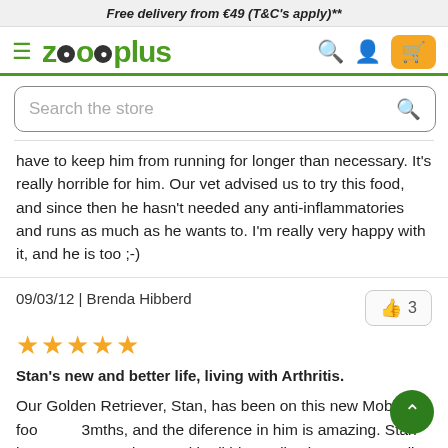Free delivery from €49 (T&C's apply)**
[Figure (logo): zooplus logo with navigation icons (hamburger menu, search, account, cart)]
Search the store
have to keep him from running for longer than necessary. It's really horrible for him. Our vet advised us to try this food, and since then he hasn't needed any anti-inflammatories and runs as much as he wants to. I'm really very happy with it, and he is too ;-)
09/03/12 | Brenda Hibberd
★★★★★
Stan's new and better life, living with Arthritis.
Our Golden Retriever, Stan, has been on this new Mobility foo 3mths, and the diference in him is amazing. Stan is over 8yrs and even with all his medication was struggling to enjoy his walks, and getting up,when he'd been sleeping.Now he runs on his walks, the shaking in his back legs as stopped, he gets up easily, he's